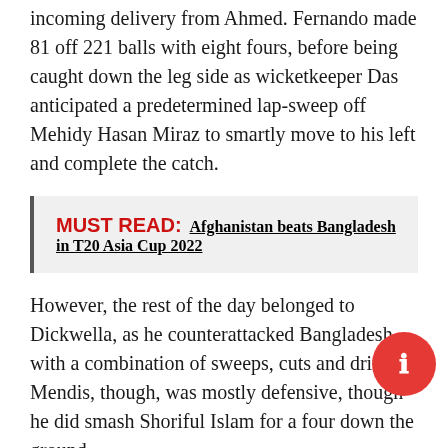incoming delivery from Ahmed. Fernando made 81 off 221 balls with eight fours, before being caught down the leg side as wicketkeeper Das anticipated a predetermined lap-sweep off Mehidy Hasan Miraz to smartly move to his left and complete the catch.
MUST READ: Afghanistan beats Bangladesh in T20 Asia Cup 2022
However, the rest of the day belonged to Dickwella, as he counterattacked Bangladesh with a combination of sweeps, cuts and drives. Mendis, though, was mostly defensive, though he did smash Shoriful Islam for a four down the ground.
It was a welcome change of pace for Sri Lanka who looked to be following their first day mantra of a slow start, and then raising their run-rate in the second session. Ahmed and the rest of Bangladesh bowlers, however, didn't allow them this comfort this time